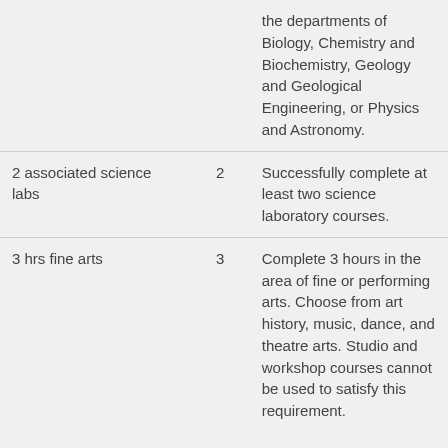| Requirement | Hours | Description |
| --- | --- | --- |
|  |  | the departments of Biology, Chemistry and Biochemistry, Geology and Geological Engineering, or Physics and Astronomy. |
| 2 associated science labs | 2 | Successfully complete at least two science laboratory courses. |
| 3 hrs fine arts | 3 | Complete 3 hours in the area of fine or performing arts. Choose from art history, music, dance, and theatre arts. Studio and workshop courses cannot be used to satisfy this requirement. |